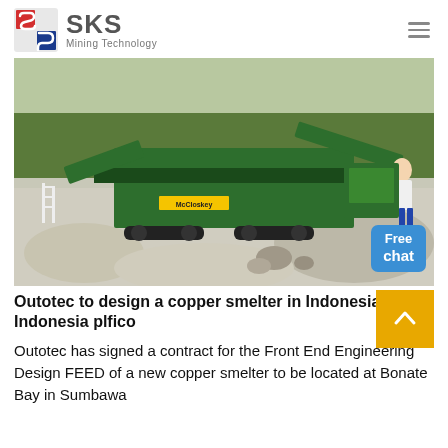SKS Mining Technology
[Figure (photo): A large green McCloskey mobile screening/crushing machine working in a gravel/quarry site with trees in background. A person in white shirt stands to the right side.]
Outotec to design a copper smelter in Indonesia PT Indonesia plfico
Outotec has signed a contract for the Front End Engineering Design FEED of a new copper smelter to be located at Bonate Bay in Sumbawa